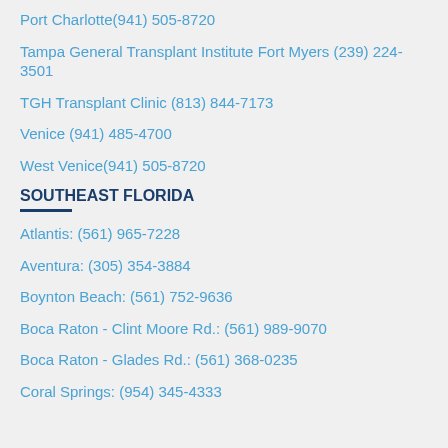Port Charlotte(941) 505-8720
Tampa General Transplant Institute Fort Myers (239) 224-3501
TGH Transplant Clinic (813) 844-7173
Venice (941) 485-4700
West Venice(941) 505-8720
SOUTHEAST FLORIDA
Atlantis: (561) 965-7228
Aventura: (305) 354-3884
Boynton Beach: (561) 752-9636
Boca Raton - Clint Moore Rd.: (561) 989-9070
Boca Raton - Glades Rd.: (561) 368-0235
Coral Springs: (954) 345-4333